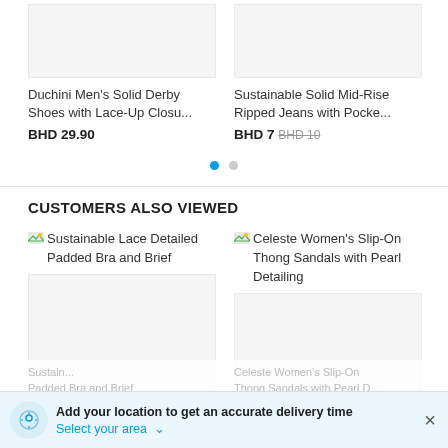Duchini Men's Solid Derby Shoes with Lace-Up Closu...
BHD 29.90
Sustainable Solid Mid-Rise Ripped Jeans with Pocke...
BHD 7  BHD 10
CUSTOMERS ALSO VIEWED
Sustainable Lace Detailed Padded Bra and Brief
Celeste Women's Slip-On Thong Sandals with Pearl Detailing
Add your location to get an accurate delivery time
Select your area ▾